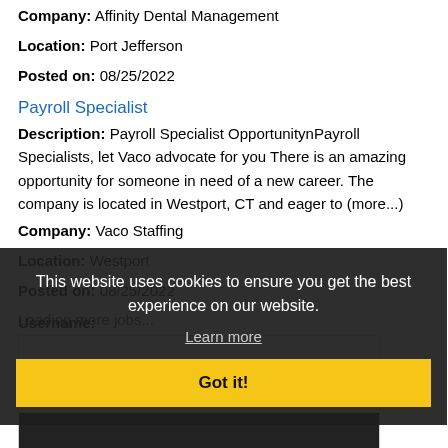Company: Affinity Dental Management
Location: Port Jefferson
Posted on: 08/25/2022
Payroll Specialist
Description: Payroll Specialist OpportunitynPayroll Specialists, let Vaco advocate for you There is an amazing opportunity for someone in need of a new career. The company is located in Westport, CT and eager to (more...)
Company: Vaco Staffing
Location: Westport
Posted on: 08/25/2022
Loading more jobs...
This website uses cookies to ensure you get the best experience on our website.
Learn more
Got it!
Username:
Password: